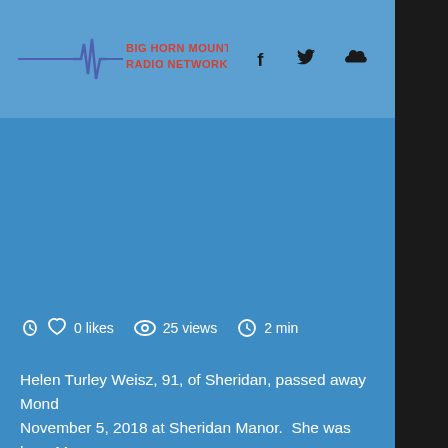BIG HORN MOUNTAIN RADIO NETWORK
0 likes   25 views   2 min
Helen Turley Weisz, 91, of Sheridan, passed away Mond November 5, 2018 at Sheridan Manor.  She was born Ma 1927 in Fort Brock Minnesota. Her and Remi (W...